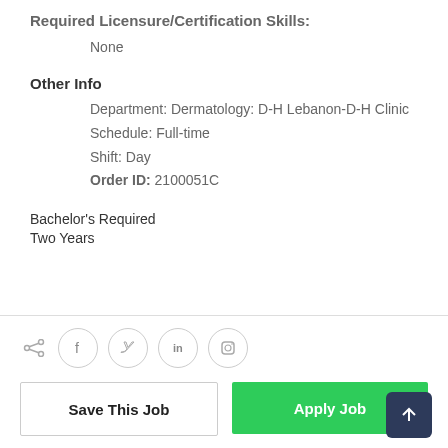Required Licensure/Certification Skills:
None
Other Info
Department: Dermatology: D-H Lebanon-D-H Clinic
Schedule: Full-time
Shift: Day
Order ID: 2100051C
Bachelor's Required
Two Years
[Figure (infographic): Social sharing icons row: share icon, Facebook, Twitter, LinkedIn, Instagram circles]
Save This Job
Apply Job